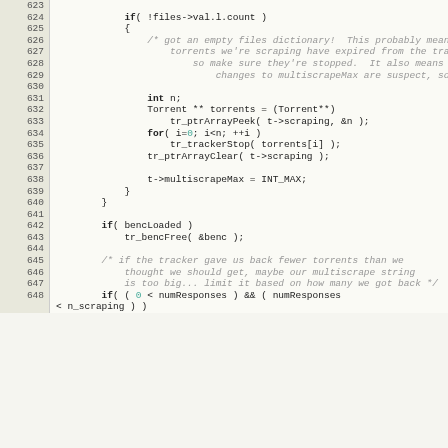[Figure (screenshot): Source code listing showing C code lines 623-648, with line numbers in a gutter on the left and code on the right. The code handles empty files dictionary in a torrent scraping context.]